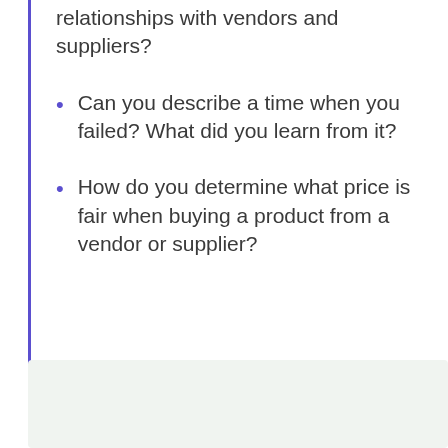relationships with vendors and suppliers?
Can you describe a time when you failed? What did you learn from it?
How do you determine what price is fair when buying a product from a vendor or supplier?